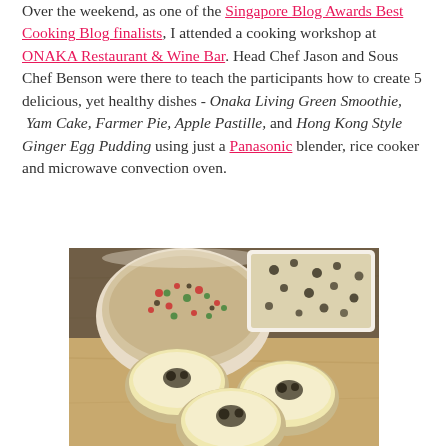Over the weekend, as one of the Singapore Blog Awards Best Cooking Blog finalists, I attended a cooking workshop at ONAKA Restaurant & Wine Bar. Head Chef Jason and Sous Chef Benson were there to teach the participants how to create 5 delicious, yet healthy dishes - Onaka Living Green Smoothie, Yam Cake, Farmer Pie, Apple Pastille, and Hong Kong Style Ginger Egg Pudding using just a Panasonic blender, rice cooker and microwave convection oven.
[Figure (photo): Photo of food dishes on a wooden board: a round bowl with colorful vegetable mixture (red, green toppings), a rectangular baking dish with cheese topping, and three small round ramekins with egg pudding topped with black garnish.]